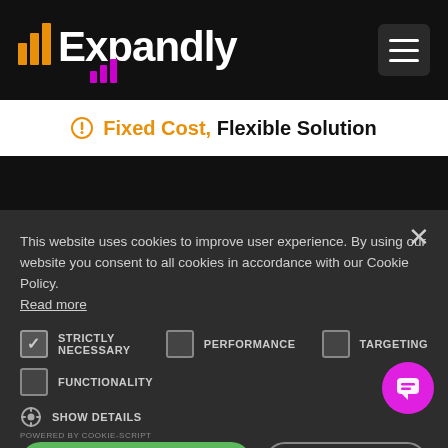[Figure (logo): Expandly logo with bar chart icon in orange/yellow on dark background]
[Figure (other): Hamburger menu icon (three horizontal lines) in dark square]
Fixed Cost, Flexible Solution
This website uses cookies to improve user experience. By using our website you consent to all cookies in accordance with our Cookie Policy. Read more
STRICTLY NECESSARY (checked), PERFORMANCE (unchecked), TARGETING (unchecked)
FUNCTIONALITY (unchecked)
SHOW DETAILS
ACCEPT ALL
DECLINE ALL
POWERED BY COOKIE-SCRIPT